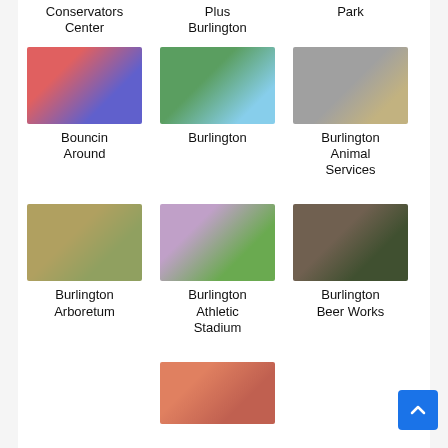Conservators Center
Plus Burlington
Park
[Figure (photo): Indoor children's play area with colorful inflatables]
Bouncin Around
[Figure (photo): Outdoor playground with play structures]
Burlington
[Figure (photo): Dog on a road or path]
Burlington Animal Services
[Figure (photo): Burlington Arboretum path through trees]
Burlington Arboretum
[Figure (photo): Athletic stadium field at dusk with lights]
Burlington Athletic Stadium
[Figure (photo): Burlington Beer Works brick building exterior]
Burlington Beer Works
[Figure (photo): Indoor gathering or restaurant scene]